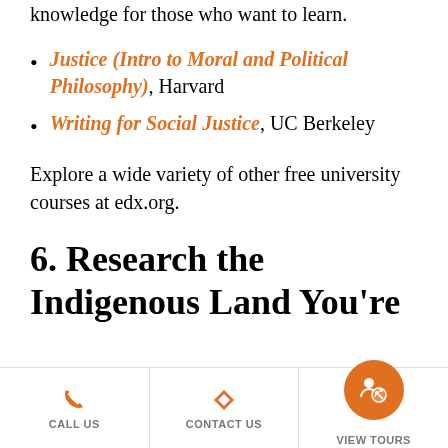knowledge for those who want to learn.
Justice (Intro to Moral and Political Philosophy), Harvard
Writing for Social Justice, UC Berkeley
Explore a wide variety of other free university courses at edx.org.
6. Research the Indigenous Land You're
CALL US  CONTACT US  VIEW TOURS